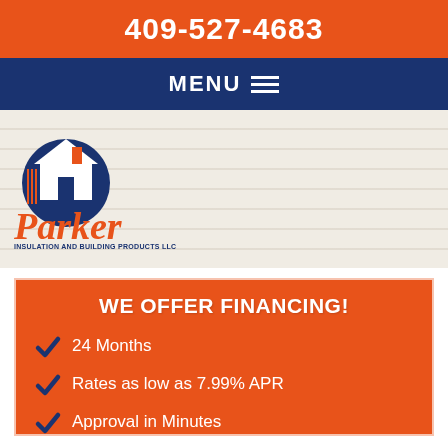409-527-4683
MENU
[Figure (logo): Parker Insulation and Building Products LLC logo with house icon and stylized cursive text]
WE OFFER FINANCING!
24 Months
Rates as low as 7.99% APR
Approval in Minutes
LEARN MORE >>